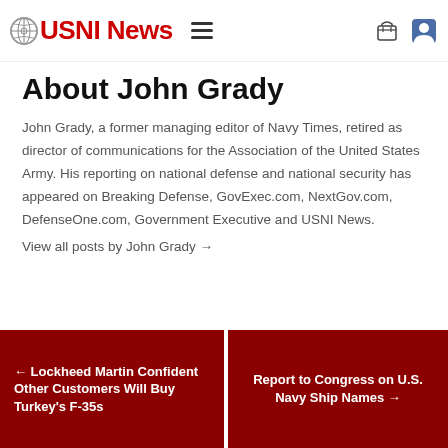USNI News
About John Grady
John Grady, a former managing editor of Navy Times, retired as director of communications for the Association of the United States Army. His reporting on national defense and national security has appeared on Breaking Defense, GovExec.com, NextGov.com, DefenseOne.com, Government Executive and USNI News.
View all posts by John Grady →
← Lockheed Martin Confident Other Customers Will Buy Turkey's F-35s
Report to Congress on U.S. Navy Ship Names →